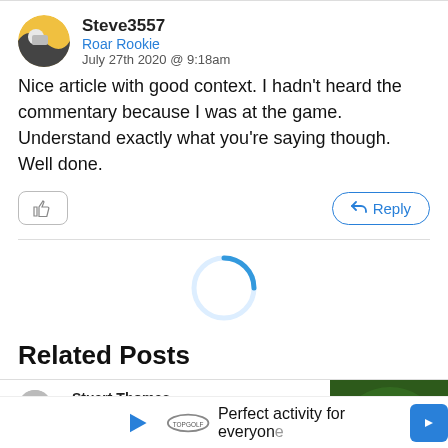Steve3557
Roar Rookie
July 27th 2020 @ 9:18am
Nice article with good context. I hadn't heard the commentary because I was at the game. Understand exactly what you're saying though. Well done.
Related Posts
Stuart Thomas
Expert
The Ro...
predic...
[Figure (infographic): Loading spinner circle, light blue outline]